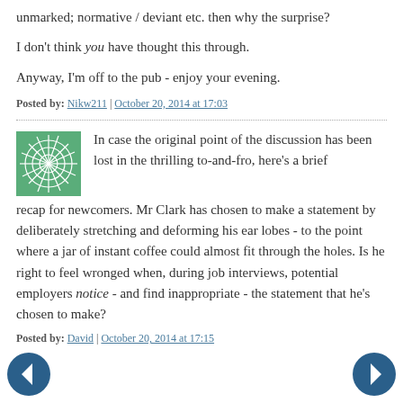unmarked; normative / deviant etc. then why the surprise?
I don't think you have thought this through.
Anyway, I'm off to the pub - enjoy your evening.
Posted by: Nikw211 | October 20, 2014 at 17:03
In case the original point of the discussion has been lost in the thrilling to-and-fro, here’s a brief recap for newcomers. Mr Clark has chosen to make a statement by deliberately stretching and deforming his ear lobes - to the point where a jar of instant coffee could almost fit through the holes. Is he right to feel wronged when, during job interviews, potential employers notice - and find inappropriate - the statement that he’s chosen to make?
Posted by: David | October 20, 2014 at 17:15